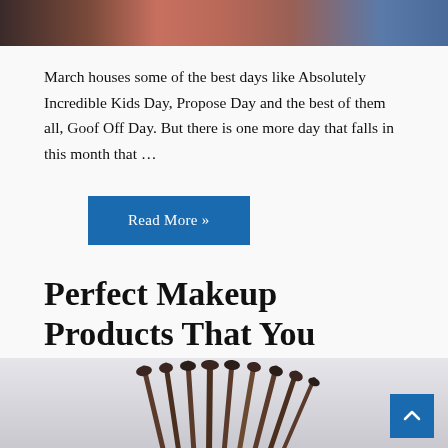[Figure (photo): Top portion of a photo showing people, cropped at the top of the page]
March houses some of the best days like Absolutely Incredible Kids Day, Propose Day and the best of them all, Goof Off Day. But there is one more day that falls in this month that ...
Read More »
Perfect Makeup Products That You Should Gift Your Lady Love
February 25, 2019
[Figure (photo): Bottom portion showing makeup brushes fanned out against a light blurred background, with a blue scroll-to-top button in the bottom right corner]